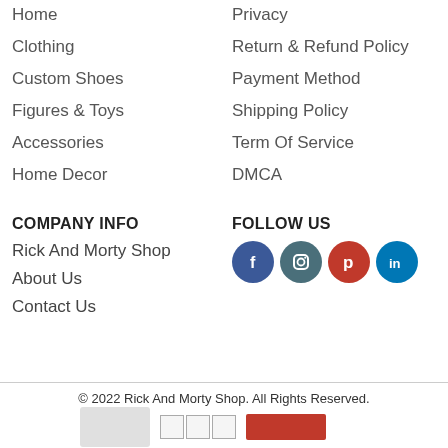Home
Privacy
Clothing
Return & Refund Policy
Custom Shoes
Payment Method
Figures & Toys
Shipping Policy
Accessories
Term Of Service
Home Decor
DMCA
COMPANY INFO
FOLLOW US
Rick And Morty Shop
About Us
Contact Us
[Figure (illustration): Four social media icons: Facebook (blue circle with f), Instagram (teal circle with camera icon), Pinterest (red circle with p), LinkedIn (blue circle with in)]
© 2022 Rick And Morty Shop. All Rights Reserved.